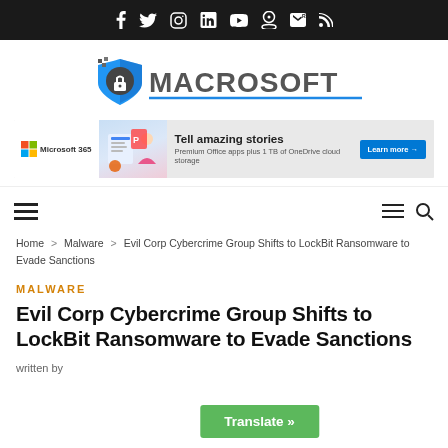Social media icon bar (f, twitter, instagram, linkedin, youtube, snapchat, rss)
[Figure (logo): Macrosoft logo with shield icon and text MACROSOFT in bold gray uppercase]
[Figure (screenshot): Microsoft 365 advertisement banner: Tell amazing stories. Premium Office apps plus 1 TB of OneDrive cloud storage. Learn more button.]
Menu navigation bar with hamburger menus and search icon
Home > Malware > Evil Corp Cybercrime Group Shifts to LockBit Ransomware to Evade Sanctions
MALWARE
Evil Corp Cybercrime Group Shifts to LockBit Ransomware to Evade Sanctions
written by